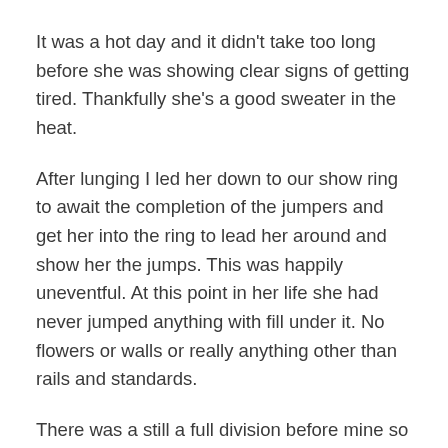It was a hot day and it didn't take too long before she was showing clear signs of getting tired. Thankfully she's a good sweater in the heat.
After lunging I led her down to our show ring to await the completion of the jumpers and get her into the ring to lead her around and show her the jumps. This was happily uneventful. At this point in her life she had never jumped anything with fill under it. No flowers or walls or really anything other than rails and standards.
There was a still a full division before mine so we headed back to the trailer to tack up (again) and get ready. I could tell when I got back on her that the sassiness was still there. The edge was gone, but not the sass. We meandered to a warm-up ring and she was clearly going to kick up at the canter again. I was about at my wits end with her shenanigans. Back to the lunge area we went , which is just a circle area of sand, but I stayed on her rather than lunge her again. We trotted, all was